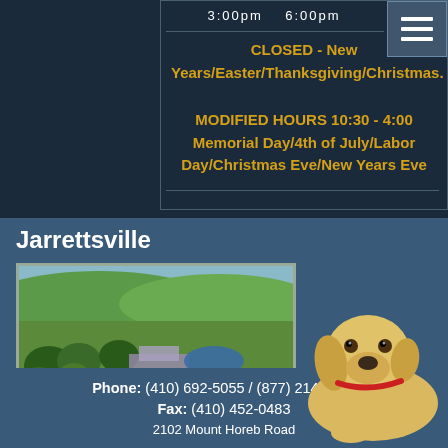3:00pm   6:00pm
CLOSED - New Years/Easter/Thanksgiving/Christmas. MODIFIED HOURS 10:30 - 4:00 Memorial Day/4th of July/Labor Day/Christmas Eve/New Years Eve
Jarrettsville
[Figure (photo): Aerial/landscape photo of rolling green hills with a building complex, blue pond, and roads, with a yellow Labrador puppy in the foreground]
Phone: (410) 692-5055 / (877) 214-7387
Fax: (410) 452-0483
2102 Mount Horeb Road